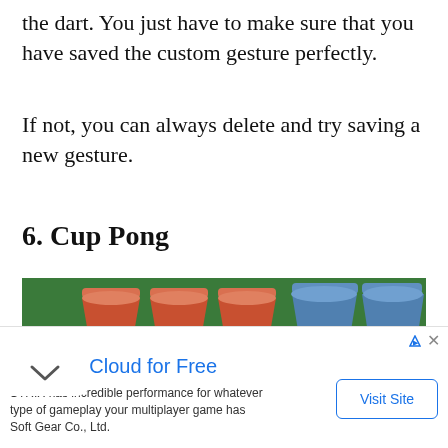the dart. You just have to make sure that you have saved the custom gesture perfectly.
If not, you can always delete and try saving a new gesture.
6. Cup Pong
[Figure (photo): Photo of red and blue party cups arranged on a green surface, resembling a cup pong game setup.]
Try Strix Cloud for Free
STRIX has incredible performance for whatever type of gameplay your multiplayer game has Soft Gear Co., Ltd.